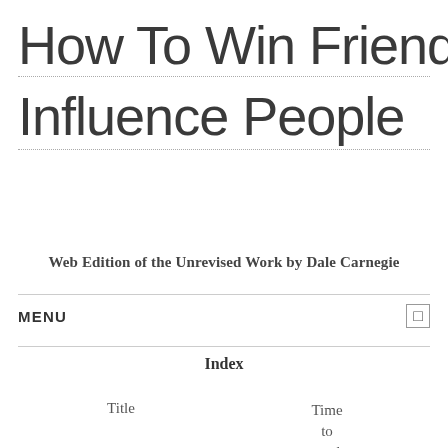How To Win Friends And Influence People
Web Edition of the Unrevised Work by Dale Carnegie
MENU
Index
| Title | Time to read |
| --- | --- |